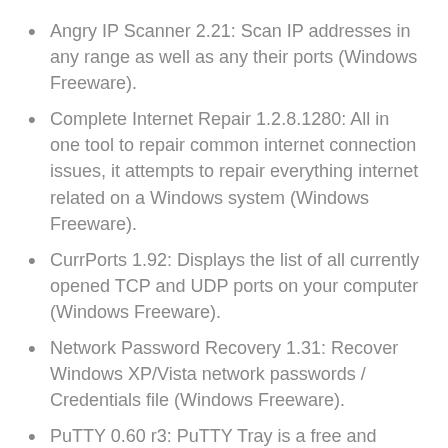Angry IP Scanner 2.21: Scan IP addresses in any range as well as any their ports (Windows Freeware).
Complete Internet Repair 1.2.8.1280: All in one tool to repair common internet connection issues, it attempts to repair everything internet related on a Windows system (Windows Freeware).
CurrPorts 1.92: Displays the list of all currently opened TCP and UDP ports on your computer (Windows Freeware).
Network Password Recovery 1.31: Recover Windows XP/Vista network passwords / Credentials file (Windows Freeware).
PuTTY 0.60 r3: PuTTY Tray is a free and open source terminal emulator application which can act as a client for the SSH and Telnet